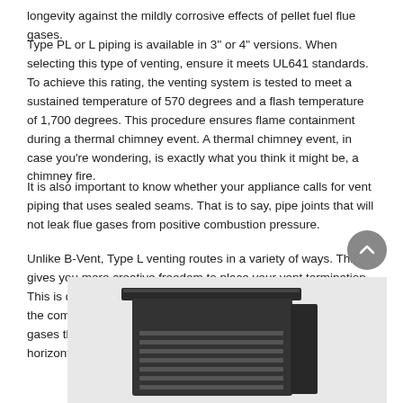longevity against the mildly corrosive effects of pellet fuel flue gases.
Type PL or L piping is available in 3" or 4" versions. When selecting this type of venting, ensure it meets UL641 standards. To achieve this rating, the venting system is tested to meet a sustained temperature of 570 degrees and a flash temperature of 1,700 degrees. This procedure ensures flame containment during a thermal chimney event. A thermal chimney event, in case you're wondering, is exactly what you think it might be, a chimney fire.
It is also important to know whether your appliance calls for vent piping that uses sealed seams. That is to say, pipe joints that will not leak flue gases from positive combustion pressure.
Unlike B-Vent, Type L venting routes in a variety of ways. This gives you more creative freedom to place your vent termination. This is due to the fact that the vent pipe is under pressure from the combustion air fan within the pellet stove. The fan forces flue gases through the system, allowing for either vertical or horizontal discharge.
[Figure (photo): A dark-colored pellet stove unit shown from a slight angle, with a vented front panel and flat top surface.]